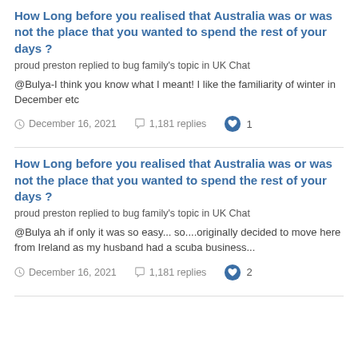How Long before you realised that Australia was or was not the place that you wanted to spend the rest of your days ?
proud preston replied to bug family's topic in UK Chat
@Bulya-I think you know what I meant! I like the familiarity of winter in December etc
December 16, 2021   1,181 replies   1
How Long before you realised that Australia was or was not the place that you wanted to spend the rest of your days ?
proud preston replied to bug family's topic in UK Chat
@Bulya ah if only it was so easy... so....originally decided to move here from Ireland as my husband had a scuba business...
December 16, 2021   1,181 replies   2